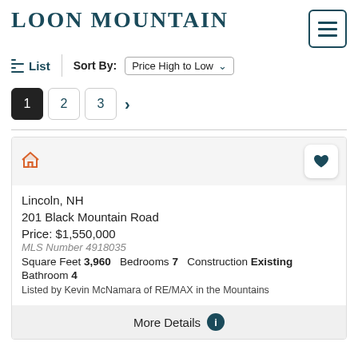LOON MOUNTAIN
List  Sort By: Price High to Low
1  2  3  >
Lincoln, NH
201 Black Mountain Road
Price: $1,550,000
MLS Number 4918035
Square Feet 3,960  Bedrooms 7  Construction Existing
Bathroom 4
Listed by Kevin McNamara of RE/MAX in the Mountains
More Details